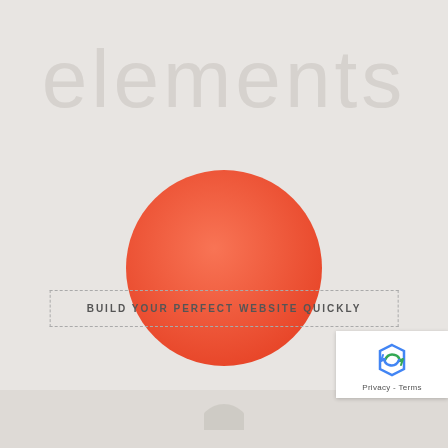elements
[Figure (illustration): Large coral/orange-red circle centered on the page]
BUILD YOUR PERFECT WEBSITE QUICKLY
[Figure (logo): Google reCAPTCHA badge with blue/green recycling arrows logo and Privacy - Terms text]
[Figure (illustration): Small partial circle visible at bottom center of page]